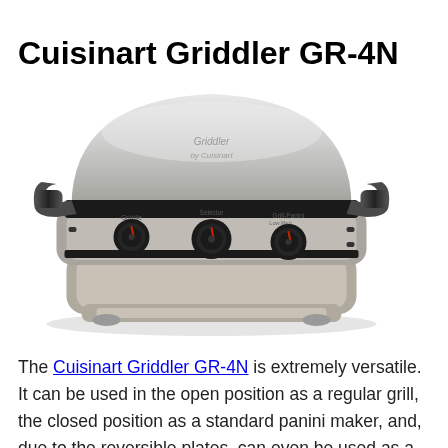Cuisinart Griddler GR-4N
[Figure (photo): Photo of the Cuisinart Griddler GR-4N appliance, a stainless steel and black countertop grill/griddle/panini maker with three control knobs labeled Griddle, Selector, and Grill-Panini.]
The Cuisinart Griddler GR-4N is extremely versatile. It can be used in the open position as a regular grill, the closed position as a standard panini maker, and, due to the reversible plates, can even be used as a griddle for making pancakes and eggs. The adjustable hinge accommodates